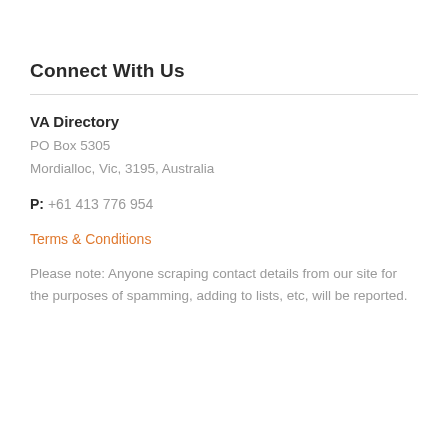Connect With Us
VA Directory
PO Box 5305
Mordialloc, Vic, 3195, Australia
P: +61 413 776 954
Terms & Conditions
Please note: Anyone scraping contact details from our site for the purposes of spamming, adding to lists, etc, will be reported.